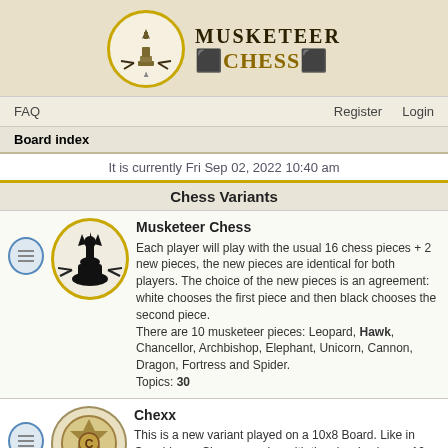[Figure (logo): Musketeer Chess logo with chess piece in yellow circle and text 'MUSKETEER CHESS' in serif bold font]
FAQ    Register    Login
Board index
It is currently Fri Sep 02, 2022 10:40 am
Chess Variants
[Figure (illustration): Black chess queen piece with crossbow/hawk piece on yellow-bordered circle]
Musketeer Chess
Each player will play with the usual 16 chess pieces + 2 new pieces, the new pieces are identical for both players. The choice of the new pieces is an agreement: white chooses the first piece and then black chooses the second piece.
There are 10 musketeer pieces: Leopard, Hawk, Chancellor, Archbishop, Elephant, Unicorn, Cannon, Dragon, Fortress and Spider.
Topics: 30
[Figure (illustration): Chexx decorative chess emblem image]
Chexx
This is a new variant played on a 10x8 Board. Like in Capablanca Chess, we play with the classic pieces, 10 Pawns and with 2 Additional New Pieces.
Topics: 1
[Figure (illustration): Cerebral edema chess chessboard image green]
Cerebral (edema) chess
Inspired by Omega chess, played on a 10x10 enlarged board + 4 corners (104 squares) Q on her color, but not white on the right. Each player has one Elephant and one Hawk out of the board.
Topics: 4
[Figure (illustration): Geneva Chess partial image]
Geneva Chess
From the series of Super Pawn games.